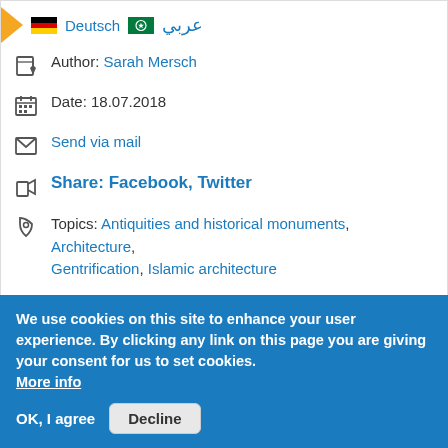Deutsch | عربي
Author: Sarah Mersch
Date: 18.07.2018
Send via mail
Share: Facebook, Twitter
Topics: Antiquities and historical monuments, Architecture, Gentrification, Islamic architecture
Print article
Maghreb, Tunisia
Permalink: https://en.qantara.de/node/32000
We use cookies on this site to enhance your user experience. By clicking any link on this page you are giving your consent for us to set cookies. More info
OK, I agree | Decline